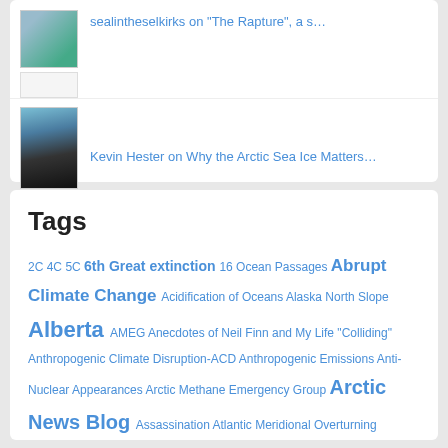sealintheselkirks on "The Rapture", a s…
[Figure (photo): Profile photo of Kevin Hester, a man with short dark hair]
Kevin Hester on Why the Arctic Sea Ice Matters…
Tags
2C 4C 5C 6th Great extinction 16 Ocean Passages Abrupt Climate Change Acidification of Oceans Alaska North Slope Alberta AMEG Anecdotes of Neil Finn and My Life "Colliding" Anthropogenic Climate Disruption-ACD Anthropogenic Emissions Anti-Nuclear Appearances Arctic Methane Emergency Group Arctic News Blog Assassination Atlantic Meridional Overturning Circulation-AMOC Atmospheric CO2 Australian Greens Beril Sirmacek Bill McKibben Bleaching Event Brush Fire Canada Catastrophe Cenozoic Era China Chris